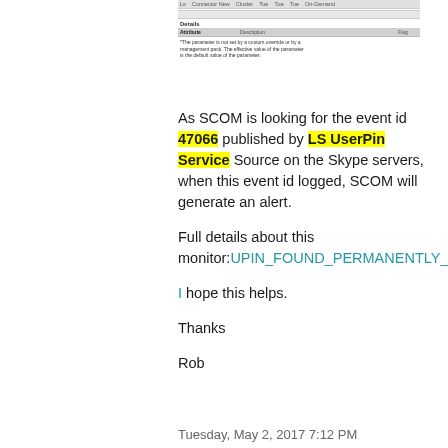[Figure (screenshot): Screenshot of a software configuration details panel showing a table with columns for Attribute, Description, and Flag, with some small text content below the header row.]
As SCOM is looking for the event id 47066 published by LS UserPin Service Source on the Skype servers, when this event id logged, SCOM will generate an alert.

Full details about this monitor:UPIN_FOUND_PERMANENTLY_LOCKED_USERS

I hope this helps.

Thanks

Rob
Tuesday, May 2, 2017 7:12 PM